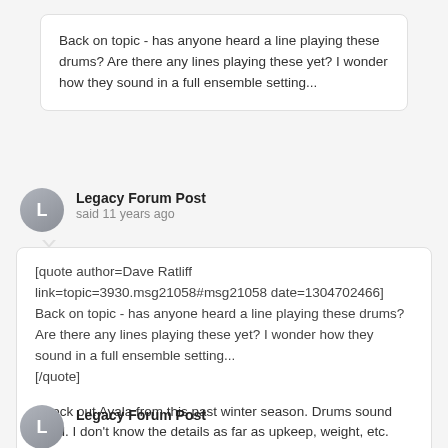Back on topic - has anyone heard a line playing these drums?  Are there any lines playing these yet?  I wonder how they sound in a full ensemble setting...
Legacy Forum Post
said 11 years ago
[quote author=Dave Ratliff link=topic=3930.msg21058#msg21058 date=1304702466]
Back on topic - has anyone heard a line playing these drums?  Are there any lines playing these yet?  I wonder how they sound in a full ensemble setting...
[/quote]

Check out Ayala from this past winter season.  Drums sound good.  I don't know the details as far as upkeep, weight, etc.
Legacy Forum Post